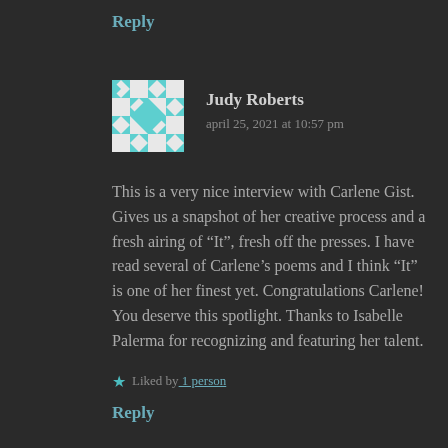Reply
Judy Roberts
april 25, 2021 at 10:57 pm
[Figure (illustration): Avatar image with teal/white geometric pattern (flowers and diamonds on light background)]
This is a very nice interview with Carlene Gist. Gives us a snapshot of her creative process and a fresh airing of “It”, fresh off the presses. I have read several of Carlene’s poems and I think “It” is one of her finest yet. Congratulations Carlene! You deserve this spotlight. Thanks to Isabelle Palerma for recognizing and featuring her talent.
Liked by 1 person
Reply